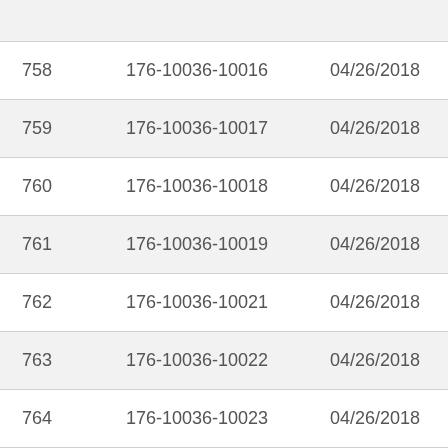| # | Document ID | Date | Date2 |
| --- | --- | --- | --- |
| 758 | 176-10036-10016 | 04/26/2018 | 4/17/ |
| 759 | 176-10036-10017 | 04/26/2018 | 4/17/ |
| 760 | 176-10036-10018 | 04/26/2018 | 4/17/ |
| 761 | 176-10036-10019 | 04/26/2018 | 4/17/ |
| 762 | 176-10036-10021 | 04/26/2018 | 4/17/ |
| 763 | 176-10036-10022 | 04/26/2018 | 4/17/ |
| 764 | 176-10036-10023 | 04/26/2018 | 4/17/ |
| 765 | 176-10036-10024 | 04/26/2018 | 4/17/ |